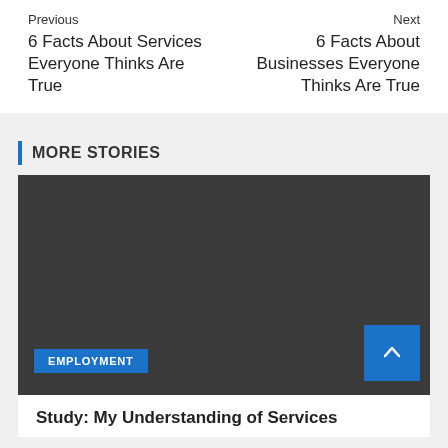Previous
6 Facts About Services Everyone Thinks Are True
Next
6 Facts About Businesses Everyone Thinks Are True
MORE STORIES
[Figure (photo): Dark gray placeholder image for a story card]
EMPLOYMENT
Study: My Understanding of Services